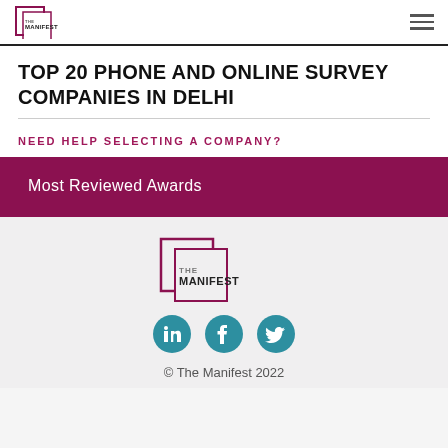THE MANIFEST
TOP 20 PHONE AND ONLINE SURVEY COMPANIES IN DELHI
NEED HELP SELECTING A COMPANY?
Most Reviewed Awards
[Figure (logo): The Manifest logo — two overlapping squares with text THE MANIFEST inside]
[Figure (infographic): Social media icons: LinkedIn, Facebook, Twitter in teal circles]
© The Manifest 2022